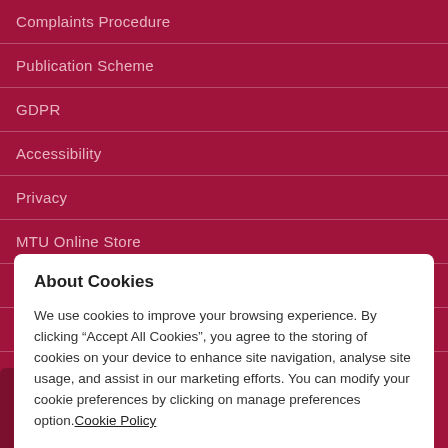Complaints Procedure
Publication Scheme
GDPR
Accessibility
Privacy
MTU Online Store
Search
Sitemap
Munster Technological
About Cookies
We use cookies to improve your browsing experience. By clicking “Accept All Cookies”, you agree to the storing of cookies on your device to enhance site navigation, analyse site usage, and assist in our marketing efforts. You can modify your cookie preferences by clicking on manage preferences option.Cookie Policy